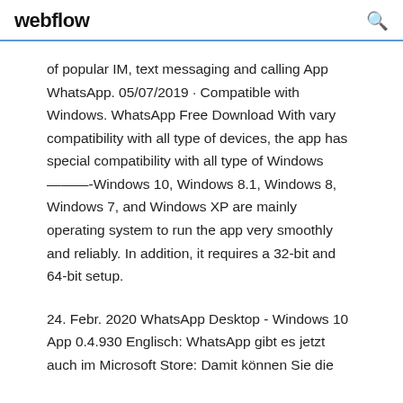webflow
of popular IM, text messaging and calling App WhatsApp. 05/07/2019 · Compatible with Windows. WhatsApp Free Download With vary compatibility with all type of devices, the app has special compatibility with all type of Windows———-Windows 10, Windows 8.1, Windows 8, Windows 7, and Windows XP are mainly operating system to run the app very smoothly and reliably. In addition, it requires a 32-bit and 64-bit setup.
24. Febr. 2020 WhatsApp Desktop - Windows 10 App 0.4.930 Englisch: WhatsApp gibt es jetzt auch im Microsoft Store: Damit können Sie die